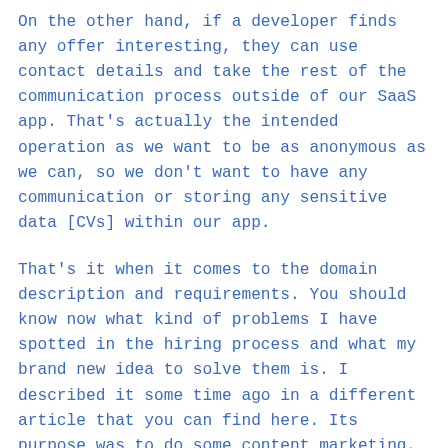On the other hand, if a developer finds any offer interesting, they can use contact details and take the rest of the communication process outside of our SaaS app. That's actually the intended operation as we want to be as anonymous as we can, so we don't want to have any communication or storing any sensitive data [CVs] within our app.
That's it when it comes to the domain description and requirements. You should know now what kind of problems I have spotted in the hiring process and what my brand new idea to solve them is. I described it some time ago in a different article that you can find here. Its purpose was to do some content marketing, so I submitted it to Hacker News, but as